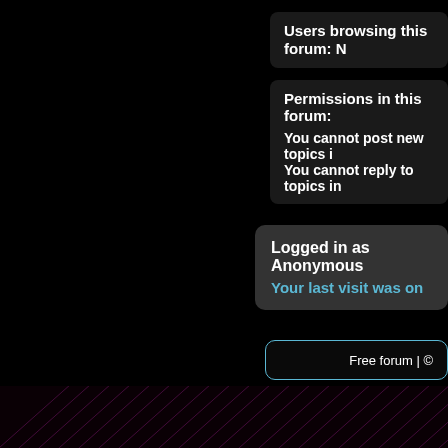Users browsing this forum: N
Permissions in this forum:
You cannot post new topics i
You cannot reply to topics in
Logged in as Anonymous
Your last visit was on
Free forum | ©
[Figure (screenshot): Forum webpage screenshot showing dark themed forum with info panels, permissions box, login status box, footer with free forum text, and a large bottom panel with light blue border containing an up arrow navigation element]